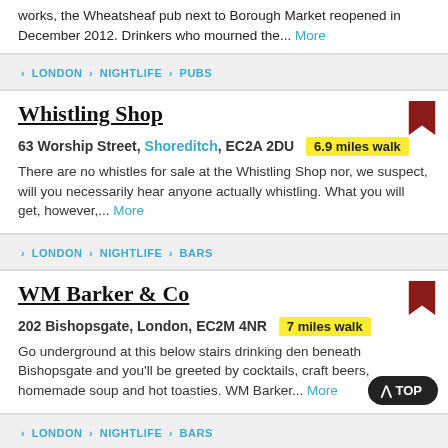works, the Wheatsheaf pub next to Borough Market reopened in December 2012. Drinkers who mourned the... More
> LONDON > NIGHTLIFE > PUBS
Whistling Shop
63 Worship Street, Shoreditch, EC2A 2DU  6.9 miles walk
There are no whistles for sale at the Whistling Shop nor, we suspect, will you necessarily hear anyone actually whistling. What you will get, however,... More
> LONDON > NIGHTLIFE > BARS
WM Barker & Co
202 Bishopsgate, London, EC2M 4NR  7 miles walk
Go underground at this below stairs drinking den beneath Bishopsgate and you'll be greeted by cocktails, craft beers, homemade soup and hot toasties. WM Barker... More
> LONDON > NIGHTLIFE > BARS